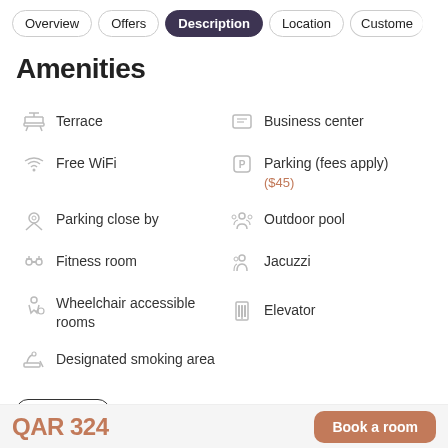Overview | Offers | Description | Location | Custome…
Amenities
Terrace
Business center
Free WiFi
Parking (fees apply) ($45)
Parking close by
Outdoor pool
Fitness room
Jacuzzi
Wheelchair accessible rooms
Elevator
Designated smoking area
View all
QAR 324  Book a room